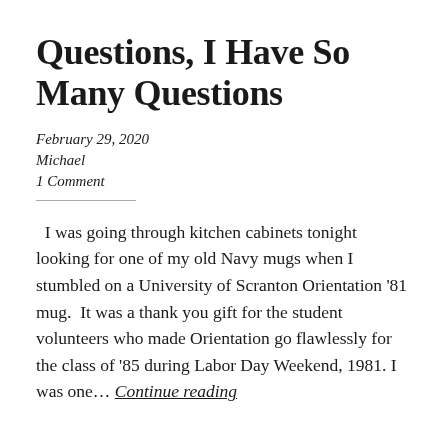Questions, I Have So Many Questions
February 29, 2020
Michael
1 Comment
I was going through kitchen cabinets tonight looking for one of my old Navy mugs when I stumbled on a University of Scranton Orientation '81 mug.  It was a thank you gift for the student volunteers who made Orientation go flawlessly for the class of '85 during Labor Day Weekend, 1981. I was one… Continue reading